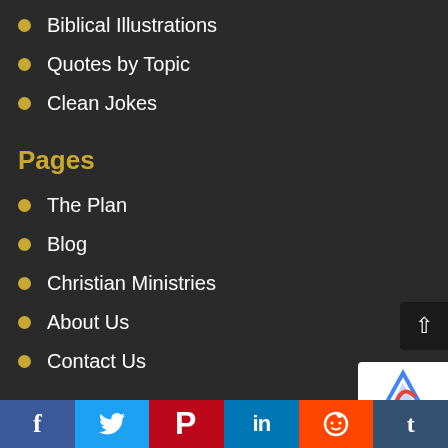Biblical Illustrations
Quotes by Topic
Clean Jokes
Pages
The Plan
Blog
Christian Ministries
About Us
Contact Us
Recent Posts
f  Twitter  Pinterest  in  Reddit  t